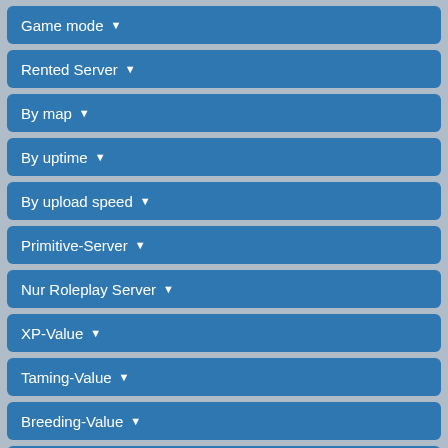Game mode ▾
Rented Server ▾
By map ▾
By uptime ▾
By upload speed ▾
Primitive-Server ▾
Nur Roleplay Server ▾
XP-Value ▾
Taming-Value ▾
Breeding-Value ▾
Harvest-Value ▾